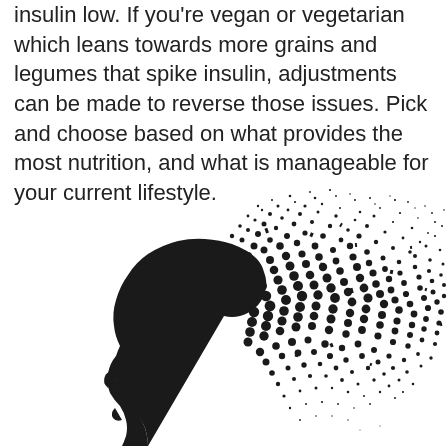insulin low. If you're vegan or vegetarian which leans towards more grains and legumes that spike insulin, adjustments can be made to reverse those issues. Pick and choose based on what provides the most nutrition, and what is manageable for your current lifestyle.
[Figure (illustration): A black silhouette of a person's head in profile (facing left), with the top and back of the head dissolving into a scattered particle/dot effect spreading to the right, suggesting disintegration or fragmentation of the mind.]